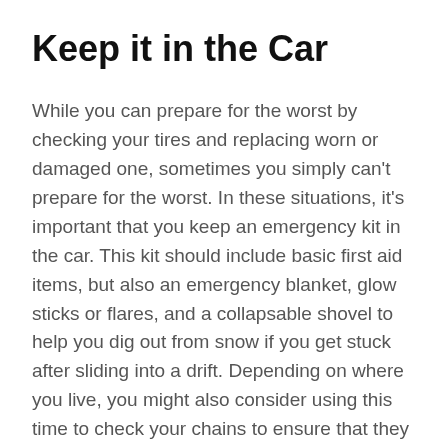Keep it in the Car
While you can prepare for the worst by checking your tires and replacing worn or damaged one, sometimes you simply can't prepare for the worst. In these situations, it's important that you keep an emergency kit in the car. This kit should include basic first aid items, but also an emergency blanket, glow sticks or flares, and a collapsable shovel to help you dig out from snow if you get stuck after sliding into a drift. Depending on where you live, you might also consider using this time to check your chains to ensure that they are still in good shape to help you get where you need to go this winter. It's always easier to check ahead of time than discover half way up a mountain in a freak winter storm that you are stuck in the cold!
There are some great driving opportunities waiting for